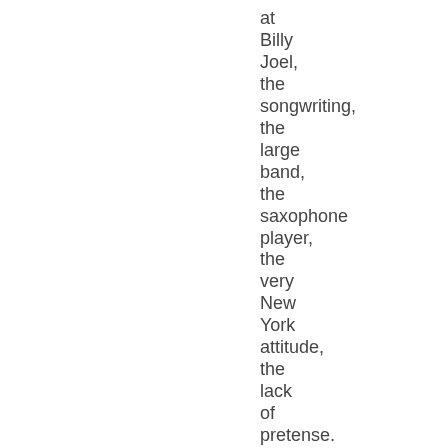at Billy Joel, the songwriting, the large band, the saxophone player, the very New York attitude, the lack of pretense. He was in great shape,